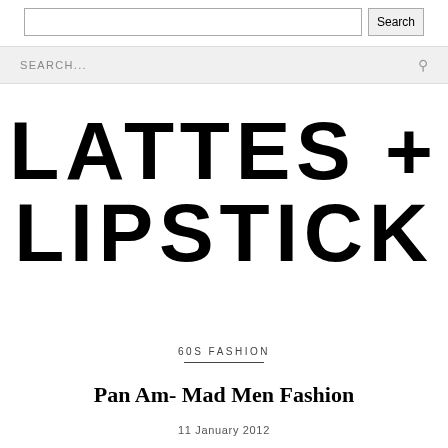Search
SEARCH...
LATTES + LIPSTICK
60S FASHION
Pan Am- Mad Men Fashion
11 January 2012